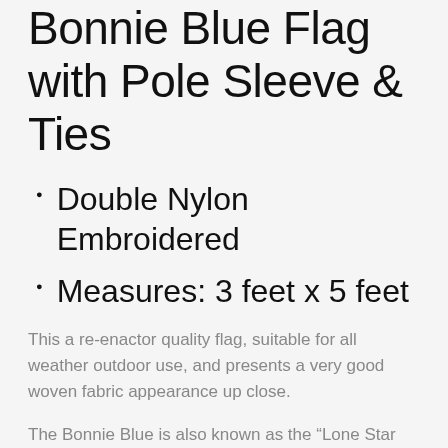Bonnie Blue Flag with Pole Sleeve & Ties
Double Nylon Embroidered
Measures: 3 feet x 5 feet
This a re-enactor quality flag, suitable for all weather outdoor use, and presents a very good woven fabric appearance up close.
The Bonnie Blue is also known as the “Lone Star Flag”, and first flew over the Republic of West Florida 1810. This republic was formed by the